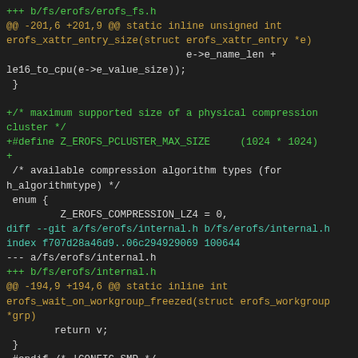+++ b/fs/erofs/erofs_fs.h
@@ -201,6 +201,9 @@ static inline unsigned int erofs_xattr_entry_size(struct erofs_xattr_entry *e)
                              e->e_name_len +
le16_to_cpu(e->e_value_size));
 }

+/* maximum supported size of a physical compression cluster */
+#define Z_EROFS_PCLUSTER_MAX_SIZE     (1024 * 1024)
+
 /* available compression algorithm types (for h_algorithmtype) */
 enum {
         Z_EROFS_COMPRESSION_LZ4 = 0,
diff --git a/fs/erofs/internal.h b/fs/erofs/internal.h
index f707d28a46d9..06c294929069 100644
--- a/fs/erofs/internal.h
+++ b/fs/erofs/internal.h
@@ -194,9 +194,6 @@ static inline int erofs_wait_on_workgroup_freezed(struct erofs_workgroup *grp)
        return v;
 }
 #endif /* !CONFIG_SMP */
-
-/* hard limit of pages per compressed cluster */
-#define Z_EROFS_CLUSTER_MAX_PAGES
(CONFIG_EROFS_FS_CLUSTER_PAGE_LIMIT)
 #endif /* !CONFIG_EROFS_FS_ZIP */